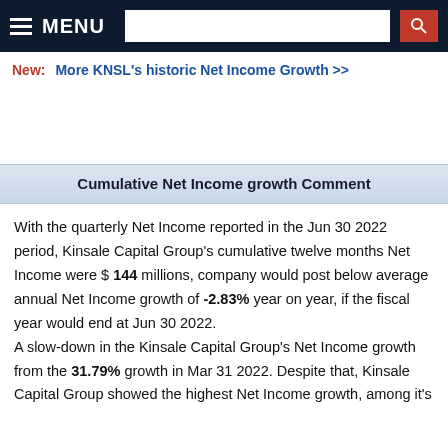MENU [search bar]
New:   More KNSL's historic Net Income Growth >>
Cumulative Net Income growth Comment
With the quarterly Net Income reported in the Jun 30 2022 period, Kinsale Capital Group's cumulative twelve months Net Income were $ 144 millions, company would post below average annual Net Income growth of -2.83% year on year, if the fiscal year would end at Jun 30 2022.
A slow-down in the Kinsale Capital Group's Net Income growth from the 31.79% growth in Mar 31 2022. Despite that, Kinsale Capital Group showed the highest Net Income growth, among it's